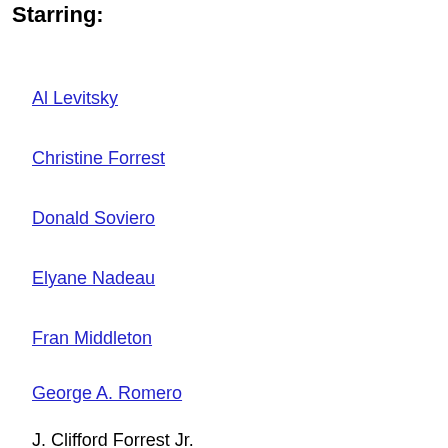Starring:
Al Levitsky
Christine Forrest
Donald Soviero
Elyane Nadeau
Fran Middleton
George A. Romero
J. Clifford Forrest Jr.
James Roy
John Amplas